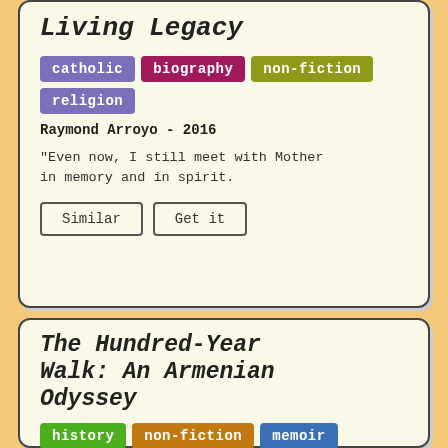Living Legacy
catholic
biography
non-fiction
religion
Raymond Arroyo - 2016
"Even now, I still meet with Mother in memory and in spirit.
The Hundred-Year Walk: An Armenian Odyssey
history
non-fiction
memoir